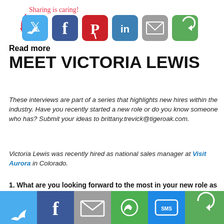[Figure (infographic): Sharing is caring! text with arrow and row of social sharing icon buttons: Twitter (blue bird), Facebook (blue f), Pinterest (red P), LinkedIn (blue in), Email (grey envelope), Share (green circular arrow)]
Read more
MEET VICTORIA LEWIS
These interviews are part of a series that highlights new hires within the industry. Have you recently started a new role or do you know someone who has? Submit your ideas to brittany.trevick@tigeroak.com.
Victoria Lewis was recently hired as national sales manager at Visit Aurora in Colorado.
1. What are you looking forward to the most in your new role as national sales manager?
[Figure (infographic): Bottom social sharing bar with icons: Twitter (blue), Facebook (dark blue), Email (grey), WhatsApp (green), SMS (blue), Share (green)]